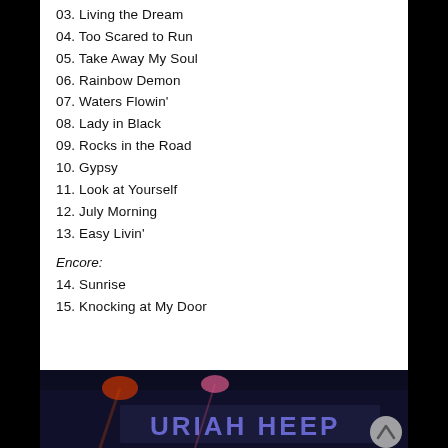03. Living the Dream
04. Too Scared to Run
05. Take Away My Soul
06. Rainbow Demon
07. Waters Flowin'
08. Lady in Black
09. Rocks in the Road
10. Gypsy
11. Look at Yourself
12. July Morning
13. Easy Livin'
Encore:
14. Sunrise
15. Knocking at My Door
[Figure (photo): Concert photo showing Uriah Heep stage banner with dramatic lighting in dark venue]